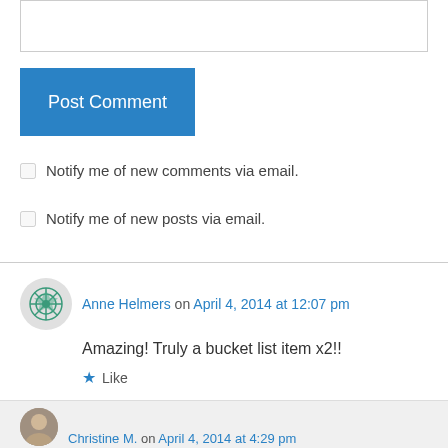[Figure (other): Text input box (comment entry field)]
Post Comment
Notify me of new comments via email.
Notify me of new posts via email.
Anne Helmers on April 4, 2014 at 12:07 pm
Amazing! Truly a bucket list item x2!!
Like
Reply
Christine M. on April 4, 2014 at 4:29 pm